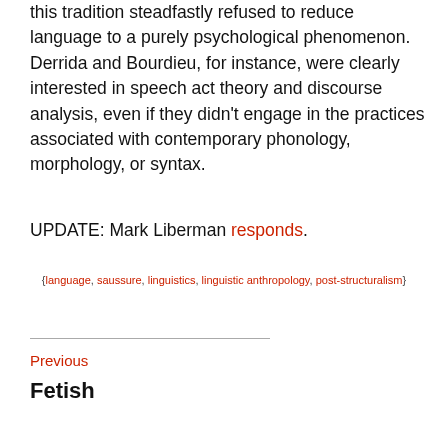this tradition steadfastly refused to reduce language to a purely psychological phenomenon. Derrida and Bourdieu, for instance, were clearly interested in speech act theory and discourse analysis, even if they didn't engage in the practices associated with contemporary phonology, morphology, or syntax.
UPDATE: Mark Liberman responds.
{language, saussure, linguistics, linguistic anthropology, post-structuralism}
Previous
Fetish